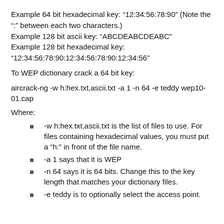Example 64 bit hexadecimal key: “12:34:56:78:90” (Note the “:” between each two characters.)
Example 128 bit ascii key: “ABCDEABCDEABC”
Example 128 bit hexadecimal key:
“12:34:56:78:90:12:34:56:78:90:12:34:56”
To WEP dictionary crack a 64 bit key:
aircrack-ng -w h:hex.txt,ascii.txt -a 1 -n 64 -e teddy wep10-01.cap
Where:
-w h:hex.txt,ascii.txt is the list of files to use. For files containing hexadecimal values, you must put a “h:” in front of the file name.
-a 1 says that it is WEP
-n 64 says it is 64 bits. Change this to the key length that matches your dictionary files.
-e teddy is to optionally select the access point.